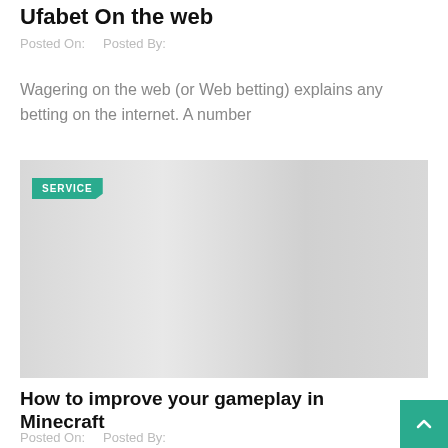Ufabet On the web
Posted On:    Posted By:
Wagering on the web (or Web betting) explains any betting on the internet. A number
[Figure (other): Gray placeholder image with a teal 'SERVICE' badge in the top-left corner]
How to improve your gameplay in Minecraft
Posted On:    Posted By: